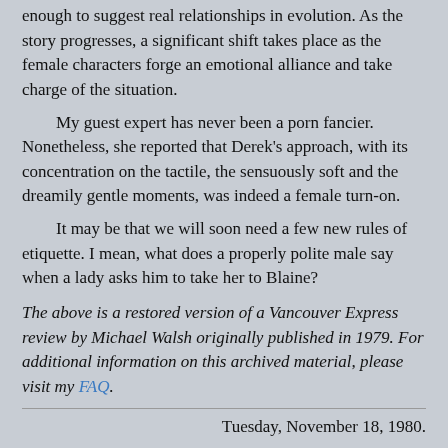enough to suggest real relationships in evolution. As the story progresses, a significant shift takes place as the female characters forge an emotional alliance and take charge of the situation.
    My guest expert has never been a porn fancier. Nonetheless, she reported that Derek's approach, with its concentration on the tactile, the sensuously soft and the dreamily gentle moments, was indeed a female turn-on.
    It may be that we will soon need a few new rules of etiquette. I mean, what does a properly polite male say when a lady asks him to take her to Blaine?
The above is a restored version of a Vancouver Express review by Michael Walsh originally published in 1979. For additional information on this archived material, please visit my FAQ.
Tuesday, November 18, 1980.
LAST MARCH [1979], DURING THE prolonged Pacific Press shutdown, Mrs. John Derek and I discussed the economics of pornography. The setting was the University of B.C. Faculty Club, where the Dereks were guests of the university's cinema